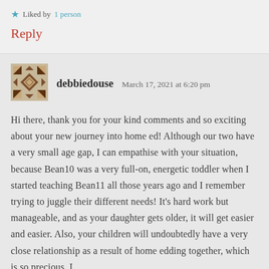★ Liked by 1 person
Reply
[Figure (illustration): User avatar for debbiedouse — a geometric/mosaic pattern in brown and tan colors]
debbiedouse   March 17, 2021 at 6:20 pm
Hi there, thank you for your kind comments and so exciting about your new journey into home ed! Although our two have a very small age gap, I can empathise with your situation, because Bean10 was a very full-on, energetic toddler when I started teaching Bean11 all those years ago and I remember trying to juggle their different needs! It's hard work but manageable, and as your daughter gets older, it will get easier and easier. Also, your children will undoubtedly have a very close relationship as a result of home edding together, which is so precious. I